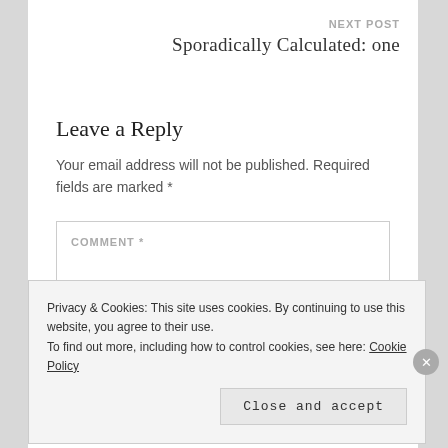NEXT POST
Sporadically Calculated: one
Leave a Reply
Your email address will not be published. Required fields are marked *
COMMENT *
Privacy & Cookies: This site uses cookies. By continuing to use this website, you agree to their use. To find out more, including how to control cookies, see here: Cookie Policy
Close and accept